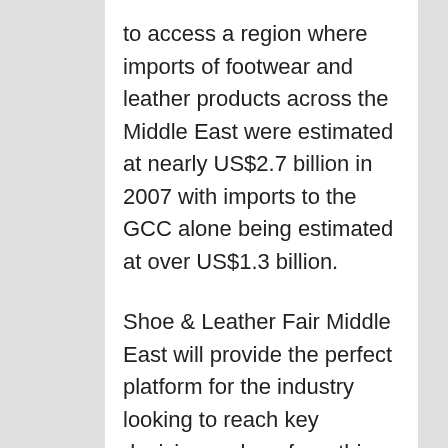to access a region where imports of footwear and leather products across the Middle East were estimated at nearly US$2.7 billion in 2007 with imports to the GCC alone being estimated at over US$1.3 billion.
Shoe & Leather Fair Middle East will provide the perfect platform for the industry looking to reach key decision makers from this highly lucrative geographical area.
Shoe & Leather Fair Middle East has created a range of additional benefits for you as an exhibitor to the show – these include: S&L Connect – S&L Elite and the S&L Lounge.
NOTE: